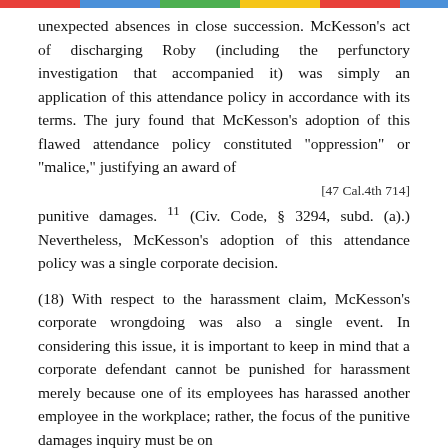unexpected absences in close succession. McKesson's act of discharging Roby (including the perfunctory investigation that accompanied it) was simply an application of this attendance policy in accordance with its terms. The jury found that McKesson's adoption of this flawed attendance policy constituted "oppression" or "malice," justifying an award of
[47 Cal.4th 714]
punitive damages. 11 (Civ. Code, § 3294, subd. (a).) Nevertheless, McKesson's adoption of this attendance policy was a single corporate decision.
(18) With respect to the harassment claim, McKesson's corporate wrongdoing was also a single event. In considering this issue, it is important to keep in mind that a corporate defendant cannot be punished for harassment merely because one of its employees has harassed another employee in the workplace; rather, the focus of the punitive damages inquiry must be on